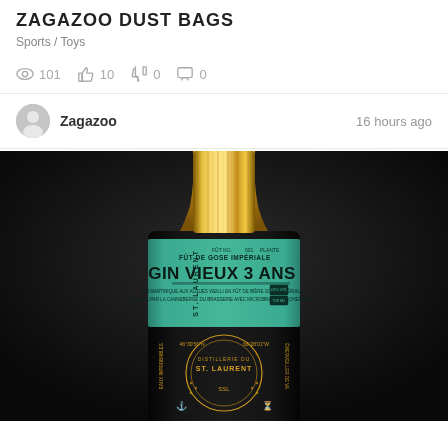ZAGAZOO DUST BAGS
Sports / Toys
101 views  10 likes  0 dislikes  0 comments
Zagazoo  16 hours ago
[Figure (photo): Close-up photo of a Distillerie du St. Laurent Gin Vieux 3 Ans bottle with gold ribbed cap and a teal/green label reading FÛT DE GOSE IMPÉRIALE, GIN VIEUX 3 ANS, with gold decorative text and emblem on dark bottle body against a dark background.]